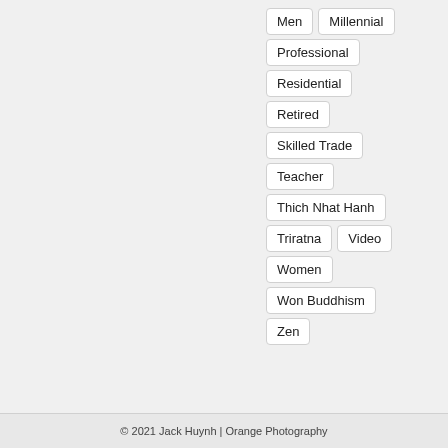Men
Millennial
Professional
Residential
Retired
Skilled Trade
Teacher
Thich Nhat Hanh
Triratna
Video
Women
Won Buddhism
Zen
© 2021 Jack Huynh | Orange Photography